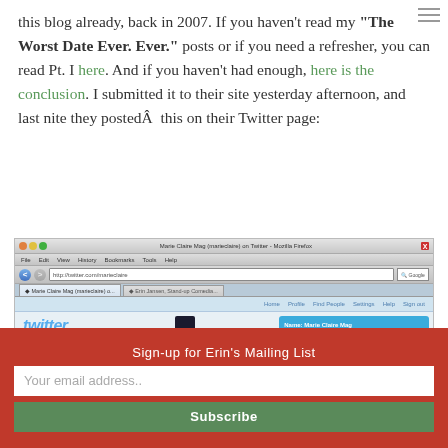this blog already, back in 2007. If you haven't read my "The Worst Date Ever. Ever." posts or if you need a refresher, you can read Pt. I here. And if you haven't had enough, here is the conclusion. I submitted it to their site yesterday afternoon, and last nite they postedÂ  this on their Twitter page:
[Figure (screenshot): Screenshot of Marie Claire Mag's Twitter page in Firefox browser, showing the Twitter logo, Marie Claire profile with logo and username 'marieclaire', a Following/Device updates Off bar, and the beginning of a tweet reading 'Reading @E_lthecomic's HILARIOUS'. A blue sidebar box shows location NYC and follower stats. A red handbag is visible in the lower left.]
Sign-up for Erin's Mailing List
Your email address..
Subscribe